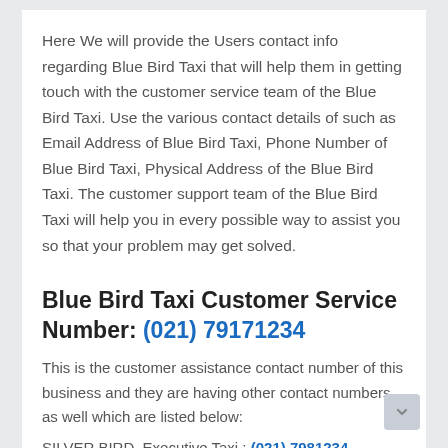Here We will provide the Users contact info regarding Blue Bird Taxi that will help them in getting touch with the customer service team of the Blue Bird Taxi. Use the various contact details of such as Email Address of Blue Bird Taxi, Phone Number of Blue Bird Taxi, Physical Address of the Blue Bird Taxi. The customer support team of the Blue Bird Taxi will help you in every possible way to assist you so that your problem may get solved.
Blue Bird Taxi Customer Service Number: (021) 79171234
This is the customer assistance contact number of this business and they are having other contact numbers as well which are listed below:
SILVER BIRD, Executive Taxi : (021) 7981234